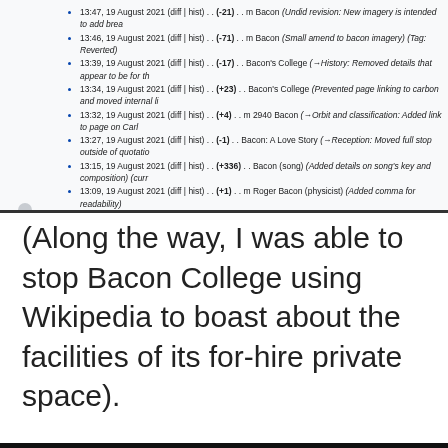[Figure (screenshot): Screenshot of a Wikipedia revision history page showing multiple edits on 19 August 2021 related to Bacon-related articles, with timestamps, diff links, edit sizes, and edit summaries. A user icon is visible at the bottom left. Footer links include 'This isn't Bacon: Subpages', 'User rights', 'Edit count', 'Edit summary search', 'Articles c...' and privacy/about links.]
(Along the way, I was able to stop Bacon College using Wikipedia to boast about the facilities of its for-hire private space).
Once my account was confirmed, I held my breath, and made the change.